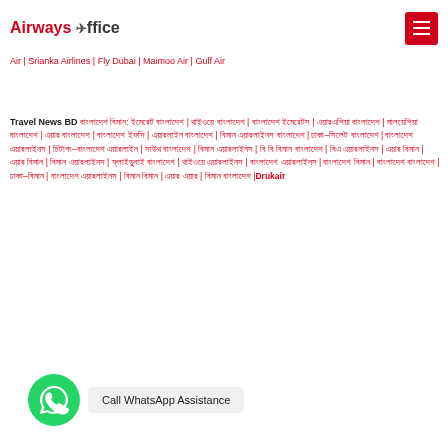Airways Office
Air | Srianka Airlines | Fly Dubai | Maimoo Air | Gulf Air
Travel News BD বাংলাদেশ বিমান: ইমেরেট বাংলাদেশ | থাইওয়ে বাংলাদেশ | বাংলাদেশ ইমেরেটস | এয়ারএশিয়া বাংলাদেশ | মালয়েশিয়া বাংলাদেশ | এয়ার বাংলাদেশ | বাংলাদেশ ইফসি | এয়ারলাইন বাংলাদেশ | বিমান এয়ারলাইনস বাংলাদেশ | ঢাকা–সিলেট বাংলাদেশ | বাংলাদেশ এয়ারলাইনস | চিটাগং–বাংলাদেশ এয়ারলাইন | সাউথ বাংলাদেশ | বিমান এয়ারলাইনস | বি বি বিমান বাংলাদেশ | বিএ এয়ারলাইনস | এয়ার বিমান | এয়ার বিমান | বিমান এয়ারলাইনস | ফ্লাইডুবাই বাংলাদেশ | থাইওয়ে এয়ারলাইনস | বাংলাদেশ এয়ারলাইনস | বাংলাদেশ বিমান | বাংলাদেশ বাংলাদেশ | ঢাকা–বিমান | বাংলাদেশ এয়ারলাইনস | বিমান বিমান | এয়ার এয়ার | বিমান বাংলাদেশ |Drukair
[Figure (logo): WhatsApp green circle icon]
Call WhatsApp Assistance